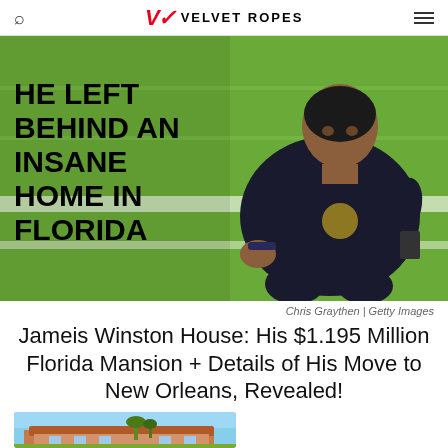Velvet Ropes
[Figure (photo): NFL quarterback Jameis Winston in New Orleans Saints black uniform kneeling on football field with green grass background. Text overlay reads HE LEFT BEHIND AN INSANE HOME IN FLORIDA in bold black uppercase letters.]
Chris Graythen | Getty Images
Jameis Winston House: His $1.195 Million Florida Mansion + Details of His Move to New Orleans, Revealed!
[Figure (photo): Exterior photo of a large Florida mansion with terracotta roof tiles, Mediterranean architecture, and palm trees.]